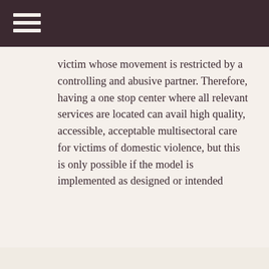victim whose movement is restricted by a controlling and abusive partner. Therefore, having a one stop center where all relevant services are located can avail high quality, accessible, acceptable multisectoral care for victims of domestic violence, but this is only possible if the model is implemented as designed or intended